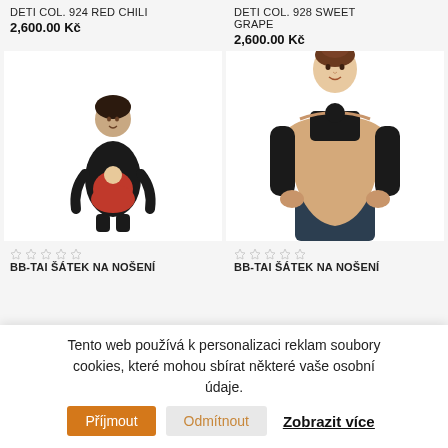DETI COL. 924 RED CHILI
2,600.00 Kč
DETI COL. 928 SWEET GRAPE
2,600.00 Kč
[Figure (photo): Woman wearing a black outfit with a red baby wrap/carrier holding a baby]
[Figure (photo): Woman wearing a black outfit with a beige/tan baby wrap/carrier]
BB-TAI ŠÁTEK NA NOŠENÍ
BB-TAI ŠÁTEK NA NOŠENÍ
Tento web používá k personalizaci reklam soubory cookies, které mohou sbírat některé vaše osobní údaje.